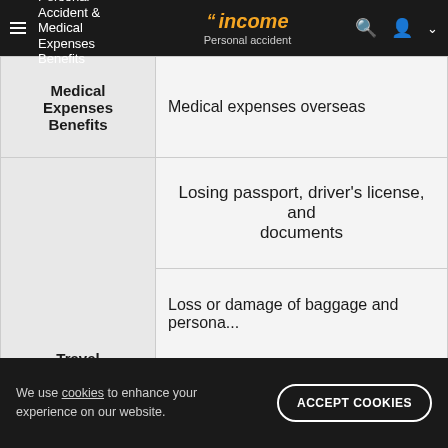Personal Accident & Medical Expenses Benefits | income Personal accident
| Category | Benefit |
| --- | --- |
| Medical Expenses Benefits | Medical expenses overseas |
| Travel Inconvenience Benefits | Losing passport, driver's license, and documents |
| Travel Inconvenience Benefits | Loss or damage of baggage and personal... |
| Travel Inconvenience Benefits | Fraudulent use of bank card |
| Travel Inconvenience Benefits | Unused entertainment ticket |
| Travel Inconvenience Benefits | Relief for additional transport expenses d... theft, robbery or road... |
| Travel Inconvenience Benefits | Golfer's cover |
We use cookies to enhance your experience on our website. ACCEPT COOKIES